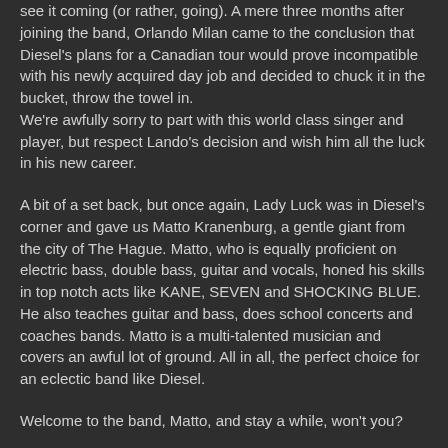see it coming (or rather, going). A mere three months after joining the band, Orlando Milan came to the conclusion that Diesel's plans for a Canadian tour would prove incompatible with his newly acquired day job and decided to chuck it in the bucket, throw the towel in.
We're awfully sorry to part with this world class singer and player, but respect Lando's decision and wish him all the luck in his new career.
A bit of a set back, but once again, Lady Luck was in Diesel's corner and gave us Matto Kranenburg, a gentle giant from the city of The Hague. Matto, who is equally proficient on electric bass, double bass, guitar and vocals, honed his skills in top notch acts like KANE, SEVEN and SHOCKING BLUE. He also teaches guitar and bass, does school concerts and coaches bands. Matto is a multi-talented musician and covers an awful lot of ground. All in all, the perfect choice for an eclectic band like Diesel.
Welcome to the band, Matto, and stay a while, won't you?